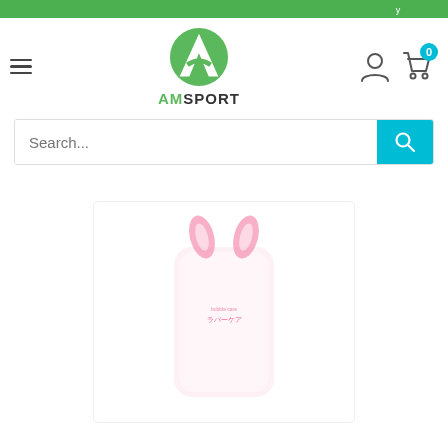[Figure (logo): AMSPORT logo with green circular icon containing a stylized A shape]
Search...
[Figure (photo): Product image - Japanese product (ラバーケア) with pink rabbit ears design on white/pale pink bottle]